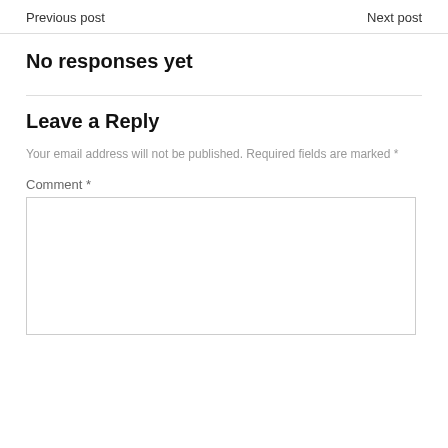Previous post    Next post
No responses yet
Leave a Reply
Your email address will not be published. Required fields are marked *
Comment *